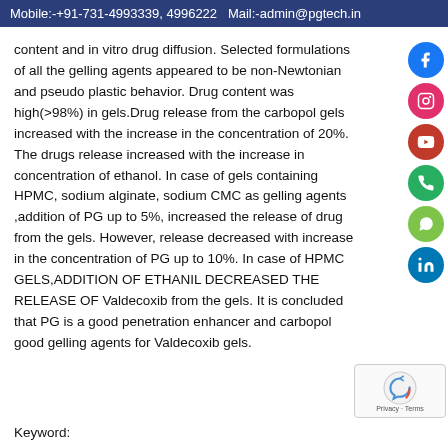Mobile:-+91-731-4993339, 4996222  Mail:-admin@pgtech.in
content and in vitro drug diffusion. Selected formulations of all the gelling agents appeared to be non-Newtonian and pseudo plastic behavior. Drug content was high(>98%) in gels.Drug release from the carbopol gels increased with the increase in the concentration of 20%. The drugs release increased with the increase in concentration of ethanol. In case of gels containing HPMC, sodium alginate, sodium CMC as gelling agents ,addition of PG up to 5%, increased the release of drug from the gels. However, release decreased with increase in the concentration of PG up to 10%. In case of HPMC GELS,ADDITION OF ETHANIL DECREASED THE RELEASE OF Valdecoxib from the gels. It is concluded that PG is a good penetration enhancer and carbopol good gelling agents for Valdecoxib gels.
Keyword: